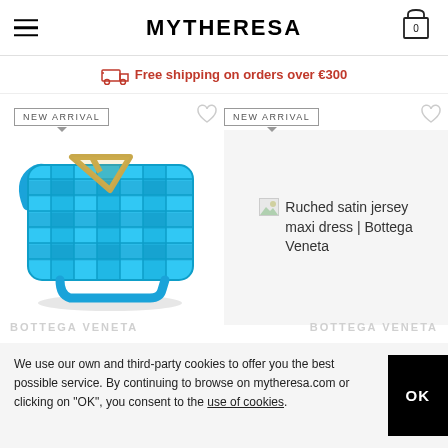MYTHERESA
Free shipping on orders over €300
NEW ARRIVAL
NEW ARRIVAL
[Figure (photo): Blue Bottega Veneta padded intrecciato leather cassette bag with gold V-triangle clasp]
Ruched satin jersey maxi dress | Bottega Veneta
We use our own and third-party cookies to offer you the best possible service. By continuing to browse on mytheresa.com or clicking on "OK", you consent to the use of cookies.